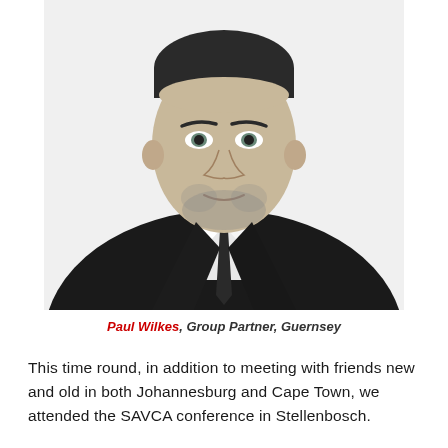[Figure (photo): Black and white professional headshot of a middle-aged man in a dark suit and tie against a white background.]
Paul Wilkes, Group Partner, Guernsey
This time round, in addition to meeting with friends new and old in both Johannesburg and Cape Town, we attended the SAVCA conference in Stellenbosch.